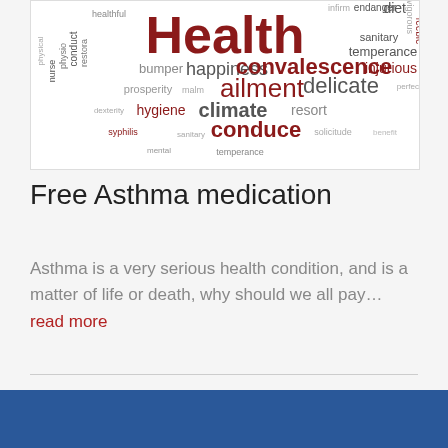[Figure (other): Word cloud with health-related terms. Largest word 'Health' in bold dark red/maroon. Other words include: healthful, nurse, physical, physio, conduct, restora, bumper, happiness, convalescence, injurious, prosperity, malm, ailment, delicate, syphilis, hygiene, climate, resort, mental, conduce, solicitude, benefit, infirm, endanger, diet, sanitary, temperance, vigorous, feeble, perfect, dexterity]
Free Asthma medication
Asthma is a very serious health condition, and is a matter of life or death, why should we all pay… read more